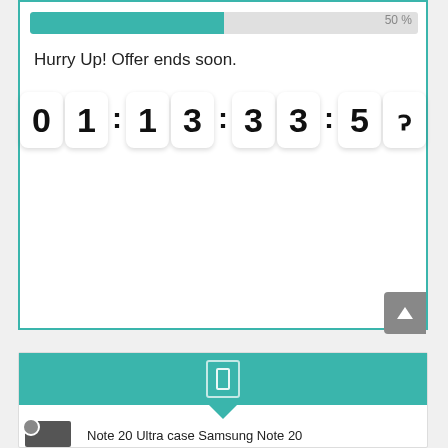[Figure (infographic): Progress bar at 50% with teal fill and gray background, label '50 %' on the right]
Hurry Up! Offer ends soon.
[Figure (infographic): Countdown timer displaying 01:13:33:51 with individual digit boxes on white cards with drop shadows]
[Figure (infographic): Teal banner header with shopping cart icon and downward triangle pointer, product row below with phone image and text 'Note 20 Ultra case Samsung Note 20']